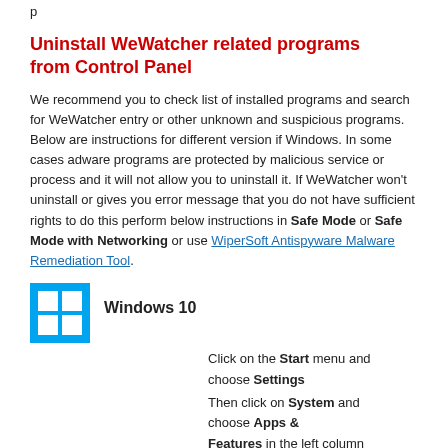Uninstall WeWatcher related programs from Control Panel
We recommend you to check list of installed programs and search for WeWatcher entry or other unknown and suspicious programs. Below are instructions for different version if Windows. In some cases adware programs are protected by malicious service or process and it will not allow you to uninstall it. If WeWatcher won't uninstall or gives you error message that you do not have sufficient rights to do this perform below instructions in Safe Mode or Safe Mode with Networking or use WiperSoft Antispyware Malware Remediation Tool.
[Figure (logo): Windows 10 logo icon - blue square with four white window panes]
Windows 10
Click on the Start menu and choose Settings
Then click on System and choose Apps & Features in the left column
Find WeWatcher under in the list and click Uninstall button near it.